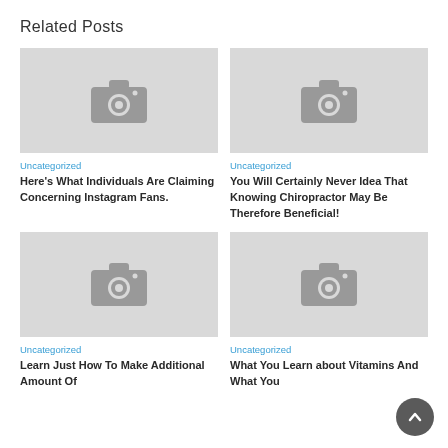Related Posts
[Figure (photo): Placeholder image with camera icon for post 1]
Uncategorized
Here's What Individuals Are Claiming Concerning Instagram Fans.
[Figure (photo): Placeholder image with camera icon for post 2]
Uncategorized
You Will Certainly Never Idea That Knowing Chiropractor May Be Therefore Beneficial!
[Figure (photo): Placeholder image with camera icon for post 3]
Uncategorized
Learn Just How To Make Additional Amount Of
[Figure (photo): Placeholder image with camera icon for post 4]
Uncategorized
What You Learn about Vitamins And What You